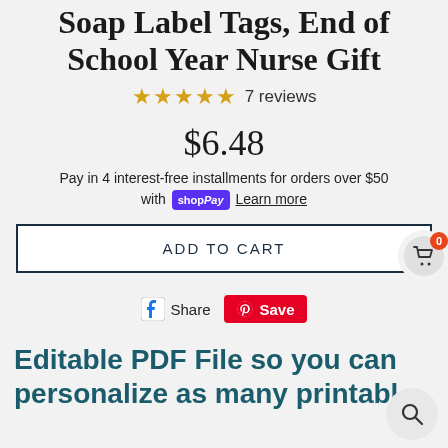Soap Label Tags, End of School Year Nurse Gift
★★★★★ 7 reviews
$6.48
Pay in 4 interest-free installments for orders over $50 with shopPay Learn more
ADD TO CART
Share  Save
Editable PDF File so you can personalize as many printabl…